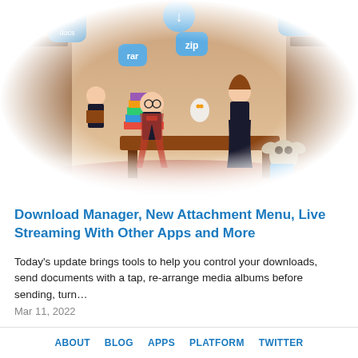[Figure (illustration): Fantasy library scene with cartoon characters resembling Harry Potter, Hermione Granger, a house elf reading a book, and a third student, surrounded by bookshelves, with floating file type icons: pdf, docs, rar, zip, txt, and a download arrow icon overhead.]
Download Manager, New Attachment Menu, Live Streaming With Other Apps and More
Today's update brings tools to help you control your downloads, send documents with a tap, re-arrange media albums before sending, turn…
Mar 11, 2022
ABOUT  BLOG  APPS  PLATFORM  TWITTER